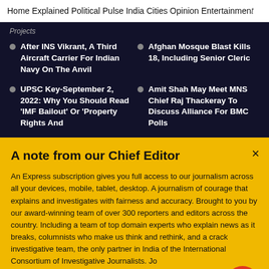Home   Explained   Political Pulse   India   Cities   Opinion   Entertainment
After INS Vikrant, A Third Aircraft Carrier For Indian Navy On The Anvil
Afghan Mosque Blast Kills 18, Including Senior Cleric
UPSC Key-September 2, 2022: Why You Should Read 'IMF Bailout' Or 'Property Rights And
Amit Shah May Meet MNS Chief Raj Thackeray To Discuss Alliance For BMC Polls
A note from our Chief Editor
An Express subscription gives you full access to our journalism across all your devices, mobile, tablet, desktop. A journalism of courage that explains and investigates with fairness and accuracy. Brought to you by our award-winning team of over 300 reporters and editors across the country. Including a team of top domain experts who explain news as it breaks, columnists who make us think and rethink, and a crack investigative team, the only partner in India of the International Consortium of Investigative Journalists. Jo
Buy Now →